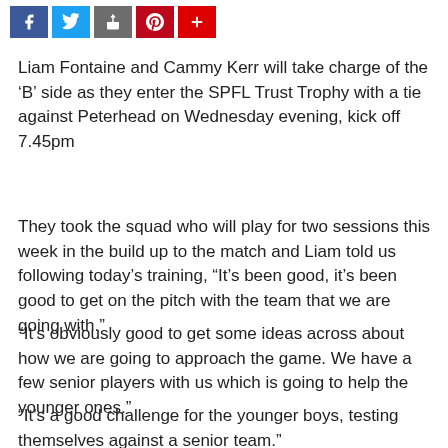[Figure (other): Social media share icons row: Facebook (blue), Twitter (light blue), Share/upload (grey), Pinterest (red), Google+ or add (red)]
Liam Fontaine and Cammy Kerr will take charge of the ‘B’ side as they enter the SPFL Trust Trophy with a tie against Peterhead on Wednesday evening, kick off 7.45pm
They took the squad who will play for two sessions this week in the build up to the match and Liam told us following today’s training, “It’s been good, it’s been good to get on the pitch with the team that we are going with.”
“It’s obviously good to get some ideas across about how we are going to approach the game. We have a few senior players with us which is going to help the younger ones.”
“It’s a good challenge for the younger boys, testing themselves against a senior team.”